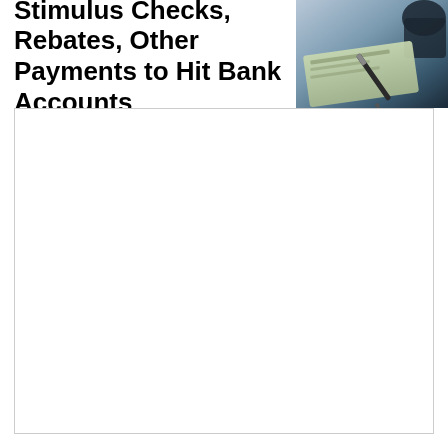Stimulus Checks, Rebates, Other Payments to Hit Bank Accounts
[Figure (photo): Photo of a check and pen on a surface, mostly blurred with dark blue tones]
[Figure (photo): Large white content area, mostly blank white box below the header]